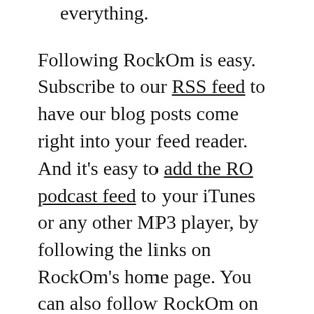everything.
Following RockOm is easy. Subscribe to our RSS feed to have our blog posts come right into your feed reader. And it’s easy to add the RO podcast feed to your iTunes or any other MP3 player, by following the links on RockOm’s home page. You can also follow RockOm on MySpace, Facebook, YouTube, and Twitter. Very soon we’ll be adding the RockOm store, offering compilation disks of music from our guest artists, and later on, group pages and other features that will further develop the social network aspects of RockOm.
Now another reason I’m writing: We need your